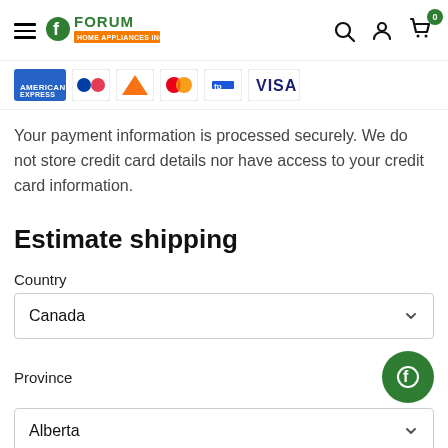Forum Home Appliances Inc. navigation header with hamburger menu, search, account, and cart icons
[Figure (other): Row of payment method logos: American Express, Interac, one orange card brand, Mastercard, another card, Visa]
Your payment information is processed securely. We do not store credit card details nor have access to your credit card information.
Estimate shipping
Country
Canada
Province
Alberta